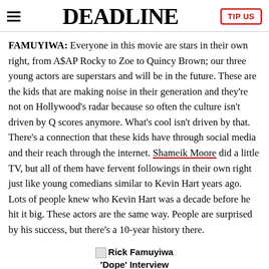DEADLINE | TIP US
FAMUYIWA: Everyone in this movie are stars in their own right, from A$AP Rocky to Zoe to Quincy Brown; our three young actors are superstars and will be in the future. These are the kids that are making noise in their generation and they're not on Hollywood's radar because so often the culture isn't driven by Q scores anymore. What's cool isn't driven by that. There's a connection that these kids have through social media and their reach through the internet. Shameik Moore did a little TV, but all of them have fervent followings in their own right just like young comedians similar to Kevin Hart years ago. Lots of people knew who Kevin Hart was a decade before he hit it big. These actors are the same way. People are surprised by his success, but there's a 10-year history there.
Rick Famuyiwa 'Dope' Interview